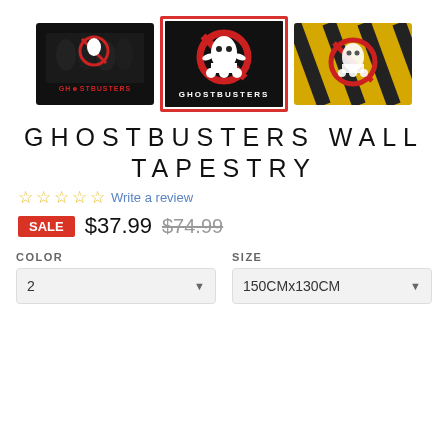[Figure (photo): Three Ghostbusters wall tapestry product images: left shows characters with Ghostbusters logo, center (selected, red border) shows the classic no-ghost logo with GHOSTBUSTERS text, right shows the logo on yellow/black hazard stripe background]
GHOSTBUSTERS WALL TAPESTRY
☆☆☆☆☆ Write a review
SALE $37.99 $74.99
COLOR
SIZE
2
150CMx130CM